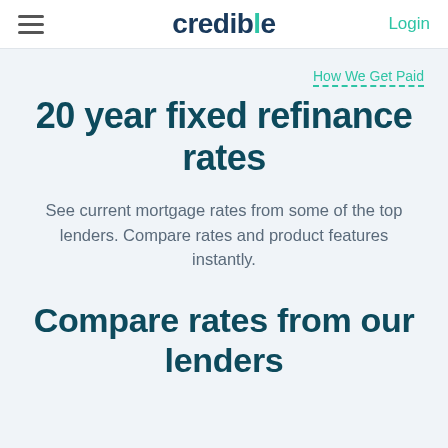credible | Login
How We Get Paid
20 year fixed refinance rates
See current mortgage rates from some of the top lenders. Compare rates and product features instantly.
Compare rates from our lenders